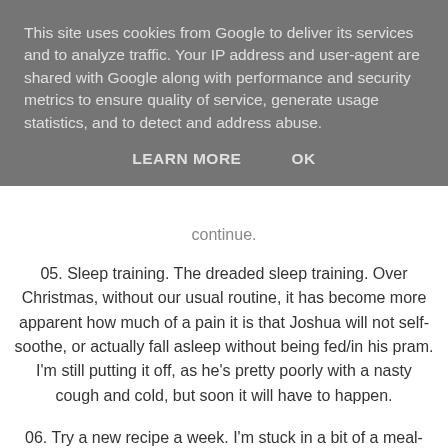This site uses cookies from Google to deliver its services and to analyze traffic. Your IP address and user-agent are shared with Google along with performance and security metrics to ensure quality of service, generate usage statistics, and to detect and address abuse.
LEARN MORE   OK
continue.
05. Sleep training. The dreaded sleep training. Over Christmas, without our usual routine, it has become more apparent how much of a pain it is that Joshua will not self-soothe, or actually fall asleep without being fed/in his pram. I'm still putting it off, as he's pretty poorly with a nasty cough and cold, but soon it will have to happen.
06. Try a new recipe a week. I'm stuck in a bit of a meal-planning rut, always the same ones over and over. It is hard, with Daniel being fussy and me being vegetarian (Colin won't eat a meal without meat!) but with Pinterest at my fingertips I have a ton of inspiration. Even just a new side, or cookie, will